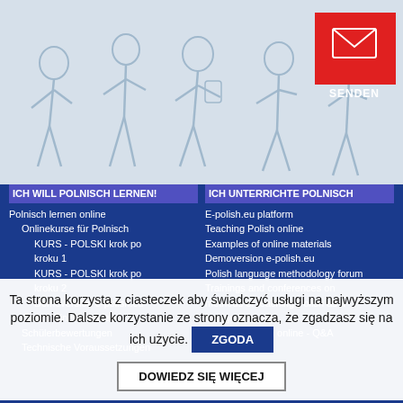wiedzy oraz informacje o aktualnych promocjach.
[Figure (illustration): Line art illustration of people walking/running, light blue on light background. Red SENDEN button with envelope icon in top right.]
ICH WILL POLNISCH LERNEN!
Polnisch lernen online
Onlinekurse für Polnisch
KURS - POLSKI krok po kroku 1
KURS - POLSKI krok po kroku 2
Demoversion e-polish.eu
Online-Einzelstunden
Schülerbewertungen
Technische Voraussetzungen
ICH UNTERRICHTE POLNISCH
E-polish.eu platform
Teaching Polish online
Examples of online materials
Demoversion e-polish.eu
Polish language methodology forum
Trainings and conferences on methods of teaching Polish as a foreign language
Teaching Polish online - Q&A
FAO
Ta strona korzysta z ciasteczek aby świadczyć usługi na najwyższym poziomie. Dalsze korzystanie ze strony oznacza, że zgadzasz się na ich użycie.
ZGODA
DOWIEDZ SIĘ WIĘCEJ